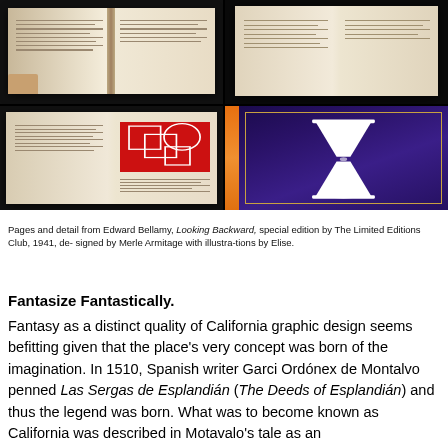[Figure (photo): Four photographs arranged in a 2x2 grid showing pages and details from Edward Bellamy's Looking Backward, special edition by The Limited Editions Club. Top-left and top-right show open book spreads against dark backgrounds. Bottom-left shows an open book with a red geometric illustration. Bottom-right shows a blue/purple book cover with a white hourglass illustration and orange spine.]
Pages and detail from Edward Bellamy, Looking Backward, special edition by The Limited Editions Club, 1941, de- signed by Merle Armitage with illustrations by Elise.
Fantasize Fantastically.
Fantasy as a distinct quality of California graphic design seems befitting given that the place's very concept was born of the imagination. In 1510, Spanish writer Garci Ordónex de Montalvo penned Las Sergas de Esplandián (The Deeds of Esplandián) and thus the legend was born. What was to become known as California was described in Motavalo's tale as an